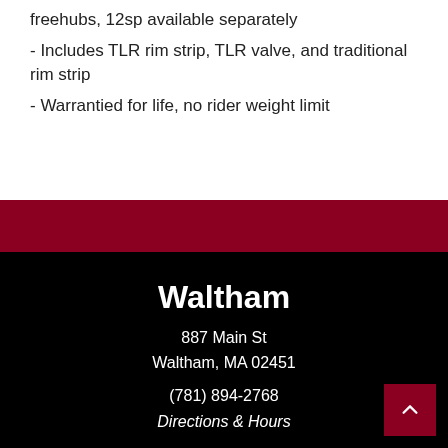freehubs, 12sp available separately
- Includes TLR rim strip, TLR valve, and traditional rim strip
- Warrantied for life, no rider weight limit
Waltham
887 Main St
Waltham, MA 02451
(781) 894-2768
Directions & Hours